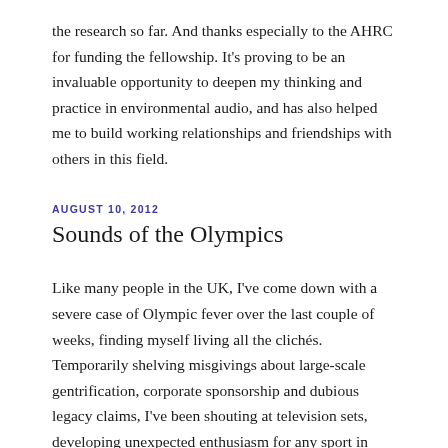the research so far. And thanks especially to the AHRC for funding the fellowship. It's proving to be an invaluable opportunity to deepen my thinking and practice in environmental audio, and has also helped me to build working relationships and friendships with others in this field.
AUGUST 10, 2012
Sounds of the Olympics
Like many people in the UK, I've come down with a severe case of Olympic fever over the last couple of weeks, finding myself living all the clichés. Temporarily shelving misgivings about large-scale gentrification, corporate sponsorship and dubious legacy claims, I've been shouting at television sets, developing unexpected enthusiasm for any sport in which brits are doing even